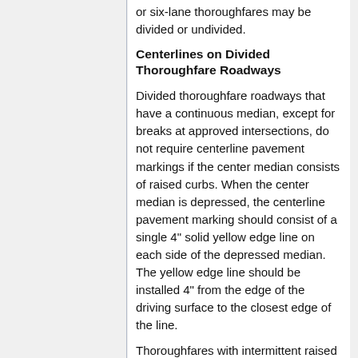or six-lane thoroughfares may be divided or undivided.
Centerlines on Divided Thoroughfare Roadways
Divided thoroughfare roadways that have a continuous median, except for breaks at approved intersections, do not require centerline pavement markings if the center median consists of raised curbs. When the center median is depressed, the centerline pavement marking should consist of a single 4" solid yellow edge line on each side of the depressed median. The yellow edge line should be installed 4" from the edge of the driving surface to the closest edge of the line.
Thoroughfares with intermittent raised medians shall have a 4" solid double